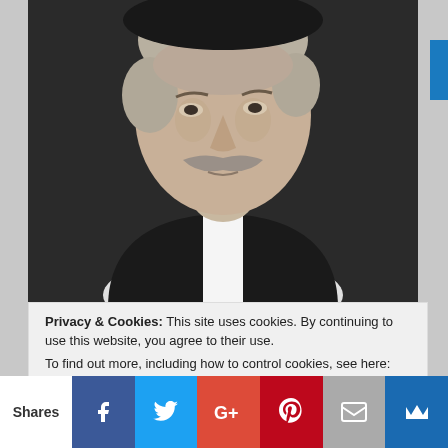[Figure (photo): Black and white portrait photograph of a middle-aged man with a large mustache, wearing a dark suit with white collar, hair swept back.]
Privacy & Cookies: This site uses cookies. By continuing to use this website, you agree to their use.
To find out more, including how to control cookies, see here:
Cookie Policy
Shares